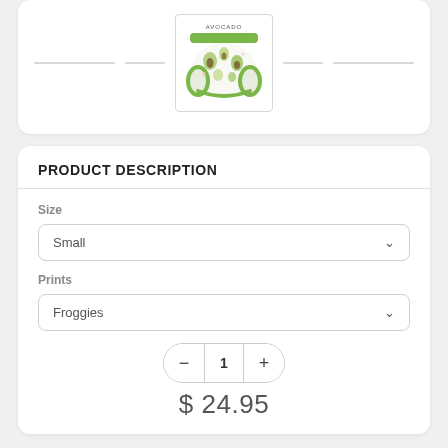[Figure (illustration): Avocado-print training pants product thumbnail image with green trim and avocado pattern, labeled 'AVOCADO' at top]
PRODUCT DESCRIPTION
Size
Small
Prints
Froggies
1
$ 24.95